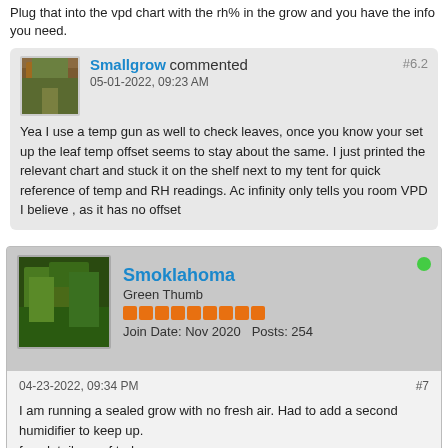Plug that into the vpd chart with the rh% in the grow and you have the info you need.
Smallgrow commented 05-01-2022, 09:23 AM #6.2
Yea I use a temp gun as well to check leaves, once you know your set up the leaf temp offset seems to stay about the same. I just printed the relevant chart and stuck it on the shelf next to my tent for quick reference of temp and RH readings. Ac infinity only tells you room VPD I believe , as it has no offset
Smoklahoma Green Thumb Join Date: Nov 2020 Posts: 254
04-23-2022, 09:34 PM #7
I am running a sealed grow with no fresh air. Had to add a second humidifier to keep up.
few details as of today-
Temp 86°
Humidity 76%
Leaf temp 81°
Co2 1200 ppm